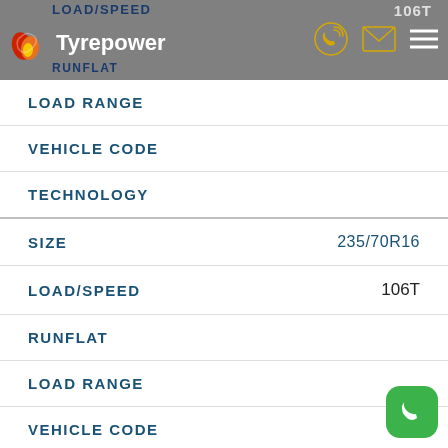LOAD/SPEED | 106T | Tyrepower | RUNFLAT
LOAD RANGE
VEHICLE CODE
TECHNOLOGY
SIZE  235/70R16
LOAD/SPEED  106T
RUNFLAT
LOAD RANGE
VEHICLE CODE
TECHNOLOGY
SIZE  255/70...